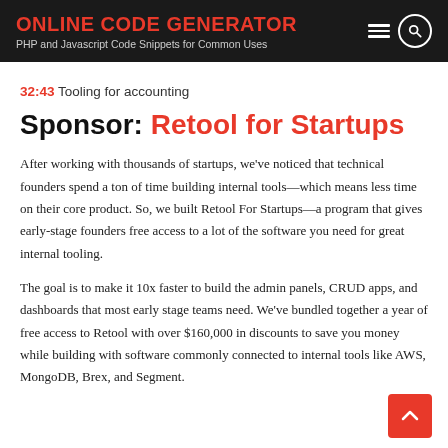ONLINE CODE GENERATOR — PHP and Javascript Code Snippets for Common Uses
32:43 Tooling for accounting
Sponsor: Retool for Startups
After working with thousands of startups, we've noticed that technical founders spend a ton of time building internal tools—which means less time on their core product. So, we built Retool For Startups—a program that gives early-stage founders free access to a lot of the software you need for great internal tooling.
The goal is to make it 10x faster to build the admin panels, CRUD apps, and dashboards that most early stage teams need. We've bundled together a year of free access to Retool with over $160,000 in discounts to save you money while building with software commonly connected to internal tools like AWS, MongoDB, Brex, and Segment.